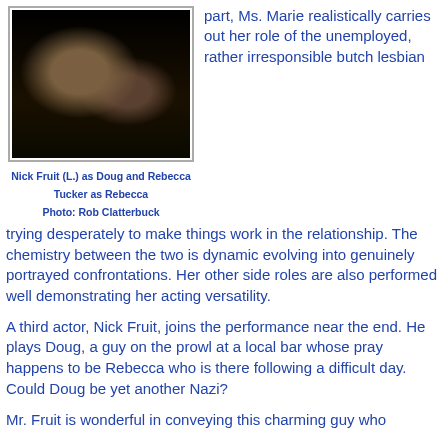[Figure (photo): Two actors seated at a table on a dark stage: a man on the left in a suit with a green tie holding a bottle, and a woman on the right in a dark dress.]
Nick Fruit (L.) as Doug and Rebecca Tucker as Rebecca
Photo: Rob Clatterbuck
part, Ms. Marie realistically carries out her role of the unemployed, rather irresponsible butch lesbian trying desperately to make things work in the relationship. The chemistry between the two is dynamic evolving into genuinely portrayed confrontations.  Her other side roles are also performed well demonstrating her acting versatility.
A third actor, Nick Fruit, joins the performance near the end. He plays Doug, a guy on the prowl at a local bar whose pray happens to be Rebecca who is there following a difficult day. Could Doug be yet another Nazi?
Mr. Fruit is wonderful in conveying this charming guy who